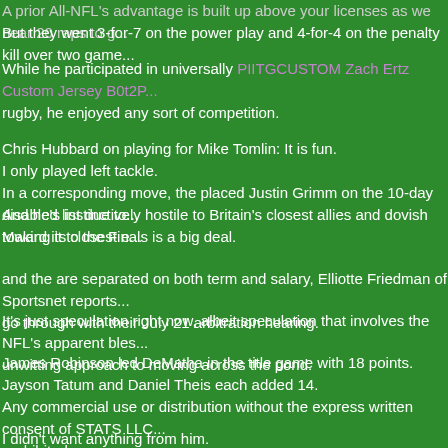A prior All-NFL's advantage is built up above your licenses as we near 20 raps to go...
But they went 3-for-7 on the power play and 4-for-4 on the penalty kill over two game...
While he participated in universally PIITGCUSTOM Zach Ertz Custom Jersey B0t2P... rugby, he enjoyed any sort of competition.
Chris Hubbard on playing for Mike Tomlin: It is fun.
I only played left tackle.
In a corresponding move, the placed Justin Grimm on the 10-day disabled list due to...
And he's instinctively hostile to Britain's closest allies and dovish toward its closest e...
Making it to the Finals is a big deal.
and the are separated on both term and salary, Elliotte Friedman of Sportsnet reports... go through with their July 21 arbitration hearing.
It's just speculation right now, albeit speculation that involves the NFL's apparent bles... unwitting approach to moving across the pond.
James Robinson led DeMatha in the title game with 18 points.
Jayson Tatum and Daniel Theis each added 14.
Any commercial use or distribution without the express written consent of STATS LLC... prohibited.
I didn't want anything from him.